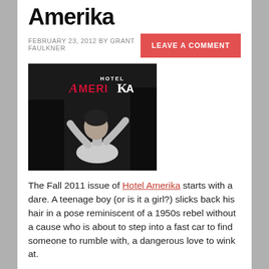Amerika
FEBRUARY 23, 2012 BY GRANT FAULKNER
LEAVE A COMMENT
[Figure (photo): Black and white cover of Hotel Amerika literary magazine, showing a teenage boy (or girl?) slicking back hair in a 1950s rebel pose against a dark background. The magazine title 'HOTEL AMERIKA' appears in red/pink and white text at the top.]
The Fall 2011 issue of Hotel Amerika starts with a dare. A teenage boy (or is it a girl?) slicks back his hair in a pose reminiscent of a 1950s rebel without a cause who is about to step into a fast car to find someone to rumble with, a dangerous love to wink at.